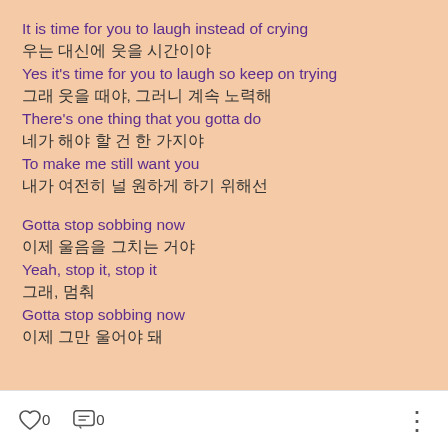It is time for you to laugh instead of crying
우는 대신에 웃을 시간이야
Yes it's time for you to laugh so keep on trying
그래 웃을 때야, 그러니 계속 노력해
There's one thing that you gotta do
네가 해야 할 건 한 가지야
To make me still want you
내가 여전히 널 원하게 하기 위해선

Gotta stop sobbing now
이제 울음을 그치는 거야
Yeah, stop it, stop it
그래, 멈춰
Gotta stop sobbing now
이제 그만 울어야 돼
0  0